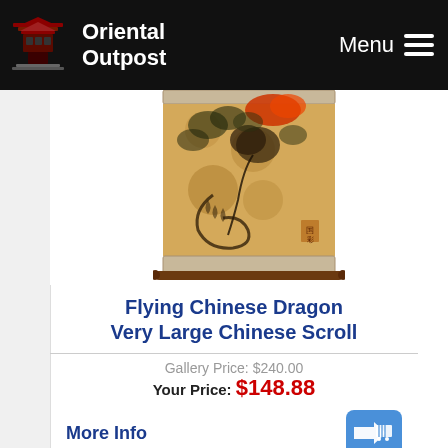Oriental Outpost | Menu
[Figure (illustration): A Chinese scroll painting depicting a flying dragon in dark ink on tan/amber background with decorative scroll borders and wooden roller at the bottom.]
Flying Chinese Dragon Very Large Chinese Scroll
Gallery Price: $240.00
Your Price: $148.88
More Info